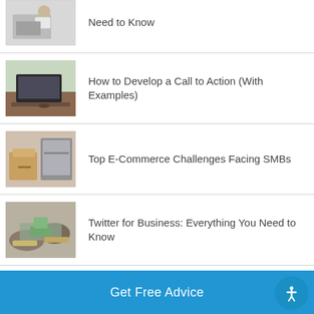Need to Know
How to Develop a Call to Action (With Examples)
Top E-Commerce Challenges Facing SMBs
Twitter for Business: Everything You Need to Know
6 Reasons Your Company Could Benefit From a Brand Ambassador Program
Get Free Advice